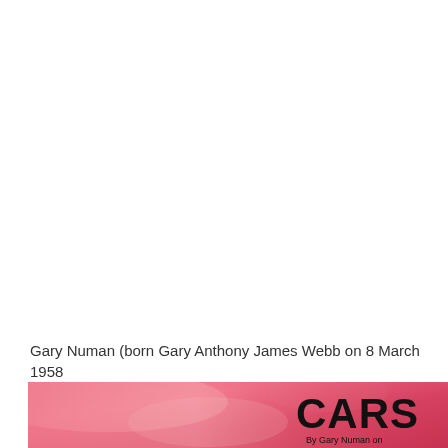Gary Numan (born Gary Anthony James Webb on 8 March 1958
[Figure (photo): Bottom portion of a pink/red record sleeve or album cover showing the word 'CARS' in large bold black text on the right side, with 'By Gary Numan on' in smaller text below it. The background is a warm pink-red gradient with some lighter areas.]